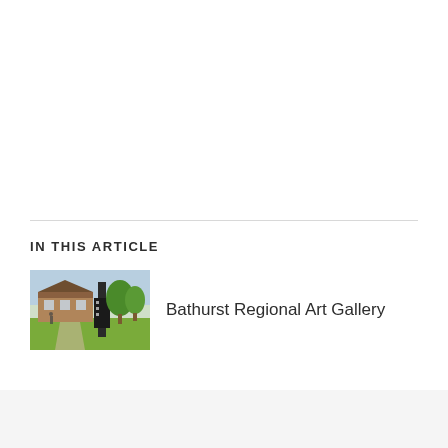IN THIS ARTICLE
[Figure (photo): Thumbnail photo of Bathurst Regional Art Gallery exterior with green grass, trees, and a dark signage banner]
Bathurst Regional Art Gallery